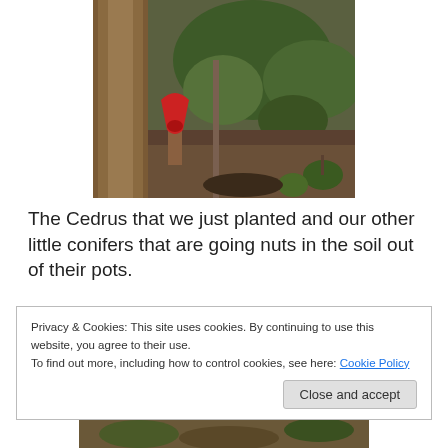[Figure (photo): Outdoor garden scene showing a wooden post/structure with a red shovel handle visible, a young tree or shrub in the center, and green conifer plants and hillside vegetation in the background.]
The Cedrus that we just planted and our other little conifers that are going nuts in the soil out of their pots.
Privacy & Cookies: This site uses cookies. By continuing to use this website, you agree to their use.
To find out more, including how to control cookies, see here: Cookie Policy
[Figure (photo): Partial bottom strip of a garden/outdoor photo showing soil and plants.]